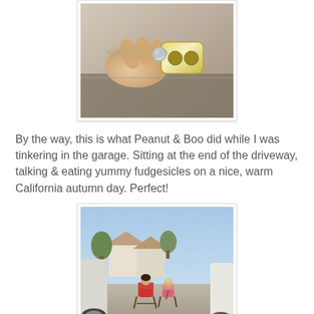[Figure (photo): Close-up photo of a hand holding a small shiny metal bolt or ball near a golden/chrome mechanical fitting or faucet component, with a blurred reflective surface in the background.]
By the way, this is what Peanut & Boo did while I was tinkering in the garage. Sitting at the end of the driveway, talking & eating yummy fudgesicles on a nice, warm California autumn day. Perfect!
[Figure (photo): Photo of two young children sitting in small folding camp chairs at the end of a driveway, viewed from behind between two parked vehicles. They appear to be eating something. A suburban neighborhood with houses and trees is visible in the background.]